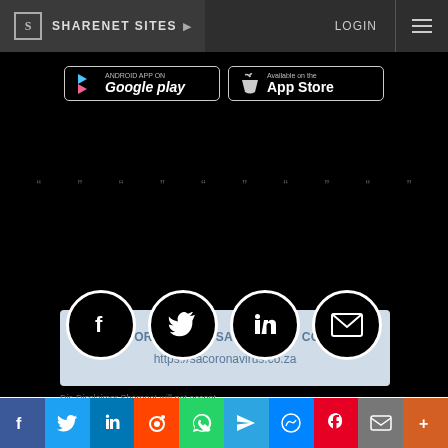SHARENET SITES ▶   LOGIN ≡
[Figure (screenshot): Google Play and Apple App Store download buttons on black background]
[Figure (screenshot): Decorative repeating quote marks pattern on black background]
[Figure (infographic): Four social media circle icons: Facebook, Twitter, LinkedIn, Email on black background]
AN IMPORTANT MESSAGE ABOUT COVID-19
https://sacoronavirus.co.za
Dis-Disclaimer Sharenet will not accept...
[Figure (infographic): Share bar at bottom with Facebook, Twitter, LinkedIn, Reddit, WhatsApp, Telegram, Messenger, Pinterest, Email, More buttons]